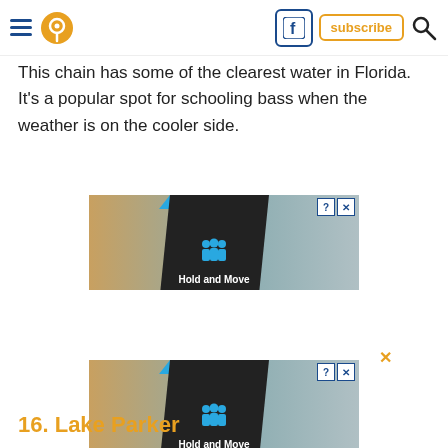Navigation header with hamburger menu, pin icon, Facebook icon, subscribe button, and search icon
This chain has some of the clearest water in Florida. It's a popular spot for schooling bass when the weather is on the cooler side.
[Figure (screenshot): Advertisement banner showing 'Hold and Move' overlay with people icons on a winter forest background, with +20 and x3 controls and close buttons (? X)]
[Figure (screenshot): Second advertisement banner showing 'Hold and Move' overlay with people icons on a winter forest background, with +20 and x3 controls and close buttons (? X), with orange X above]
16. Lake Parker